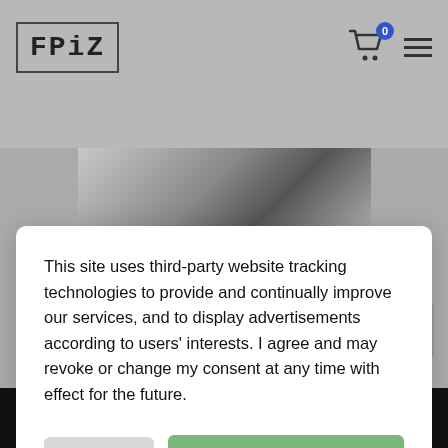[Figure (logo): FRIZ logo in a square border, top left of header]
[Figure (screenshot): Shopping cart icon with blue badge showing 0, and hamburger menu icon, top right of header]
This site uses third-party website tracking technologies to provide and continually improve our services, and to display advertisements according to users' interests. I agree and may revoke or change my consent at any time with effect for the future.
more
OK
Call now   Make contact